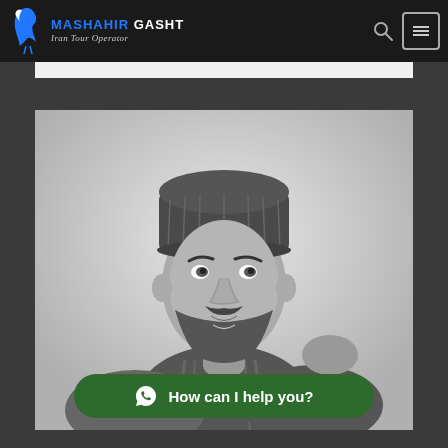MASHAHIR GASHT Iran Tour Operator
[Figure (photo): Black and white portrait photo of a young bearded man wearing a knit beanie hat and plaid shirt, looking intensely at the camera]
How can I help you?